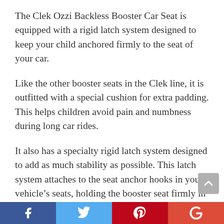The Clek Ozzi Backless Booster Car Seat is equipped with a rigid latch system designed to keep your child anchored firmly to the seat of your car.
Like the other booster seats in the Clek line, it is outfitted with a special cushion for extra padding. This helps children avoid pain and numbness during long car rides.
It also has a specialty rigid latch system designed to add as much stability as possible. This latch system attaches to the seat anchor hooks in your vehicle’s seats, holding the booster seat firmly in place.
The Clek Ozzi Backless Belt Booster Seat is also designed to look great. It blends in to your vehicle’s actual seat to avoid being conspicuous. What is more,
Facebook | Twitter | Pinterest | Google+